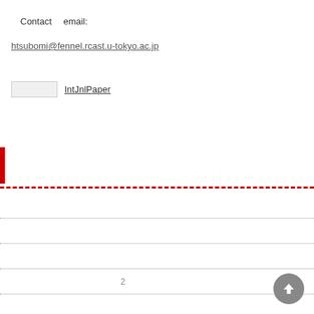Contact　 email:
htsubomi@fennel.rcast.u-tokyo.ac.jp
IntJnlPaper
2